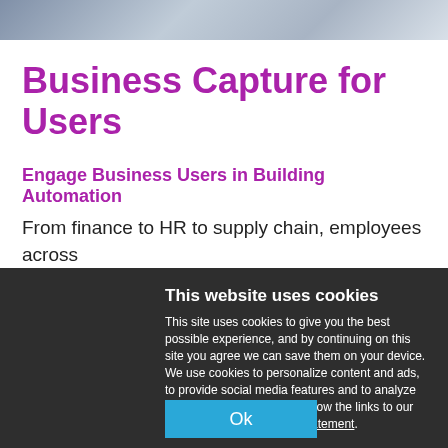[Figure (photo): Partial top of page showing a blurred or cropped image of a building or office scene in gray/blue tones]
Business Capture for Users
Engage Business Users in Building Automation
From finance to HR to supply chain, employees across
This website uses cookies
This site uses cookies to give you the best possible experience, and by continuing on this site you agree we can save them on your device. We use cookies to personalize content and ads, to provide social media features and to analyze our traffic. To learn more, follow the links to our cookie policy and privacy statement.
Ok